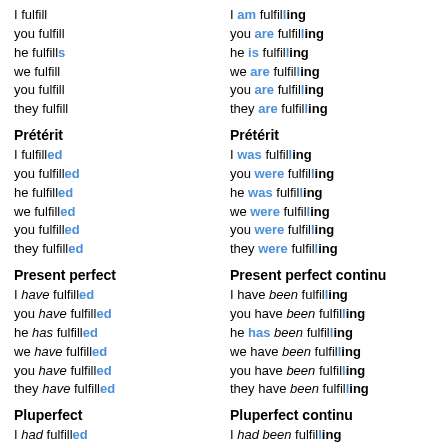I fulfill
you fulfill
he fulfills
we fulfill
you fulfill
they fulfill
I am fulfilling
you are fulfilling
he is fulfilling
we are fulfilling
you are fulfilling
they are fulfilling
Prétérit
I fulfilled
you fulfilled
he fulfilled
we fulfilled
you fulfilled
they fulfilled
Prétérit
I was fulfilling
you were fulfilling
he was fulfilling
we were fulfilling
you were fulfilling
they were fulfilling
Present perfect
I have fulfilled
you have fulfilled
he has fulfilled
we have fulfilled
you have fulfilled
they have fulfilled
Present perfect continu
I have been fulfilling
you have been fulfilling
he has been fulfilling
we have been fulfilling
you have been fulfilling
they have been fulfilling
Pluperfect
I had fulfilled
you had fulfilled
he had fulfilled
Pluperfect continu
I had been fulfilling
you had been fulfilling
he had been fulfilling